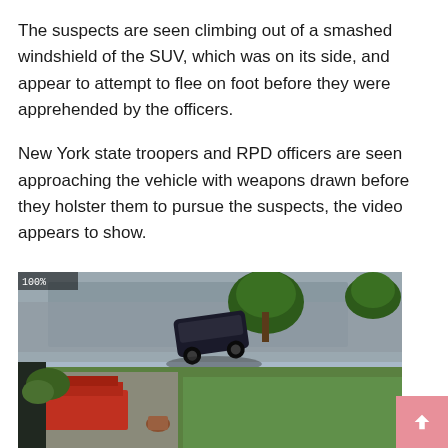The suspects are seen climbing out of a smashed windshield of the SUV, which was on its side, and appear to attempt to flee on foot before they were apprehended by the officers.
New York state troopers and RPD officers are seen approaching the vehicle with weapons drawn before they holster them to pursue the suspects, the video appears to show.
[Figure (photo): Surveillance camera footage showing an overturned or sideways dark SUV on a residential street, viewed from above. Trees, sidewalk, driveway with red structure visible, and green grass lawn in the background.]